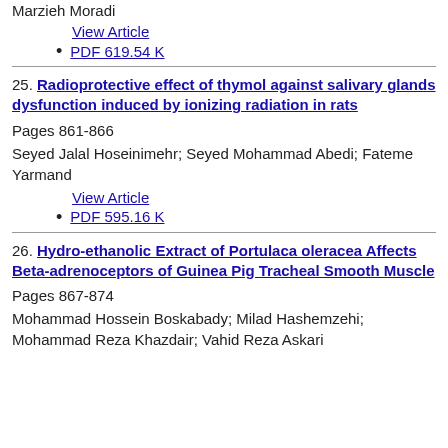Marzieh Moradi
View Article
PDF 619.54 K
25. Radioprotective effect of thymol against salivary glands dysfunction induced by ionizing radiation in rats
Pages 861-866
Seyed Jalal Hoseinimehr; Seyed Mohammad Abedi; Fateme Yarmand
View Article
PDF 595.16 K
26. Hydro-ethanolic Extract of Portulaca oleracea Affects Beta-adrenoceptors of Guinea Pig Tracheal Smooth Muscle
Pages 867-874
Mohammad Hossein Boskabady; Milad Hashemzehi; Mohammad Reza Khazdair; Vahid Reza Askari